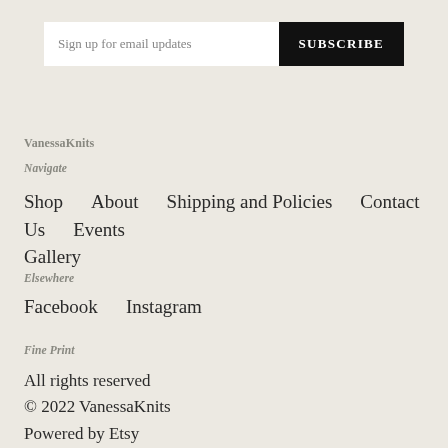Sign up for email updates  SUBSCRIBE
VanessaKnits
Navigate
Shop   About   Shipping and Policies   Contact Us   Events   Gallery
Elsewhere
Facebook   Instagram
Fine Print
All rights reserved
© 2022 VanessaKnits
Powered by Etsy